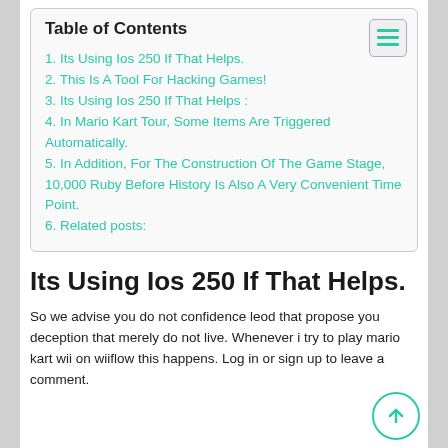Table of Contents
1. Its Using Ios 250 If That Helps.
2. This Is A Tool For Hacking Games!
3. Its Using Ios 250 If That Helps :
4. In Mario Kart Tour, Some Items Are Triggered Automatically.
5. In Addition, For The Construction Of The Game Stage, 10,000 Ruby Before History Is Also A Very Convenient Time Point.
6. Related posts:
Its Using Ios 250 If That Helps.
So we advise you do not confidence leod that propose you deception that merely do not live. Whenever i try to play mario kart wii on wiiflow this happens. Log in or sign up to leave a comment.